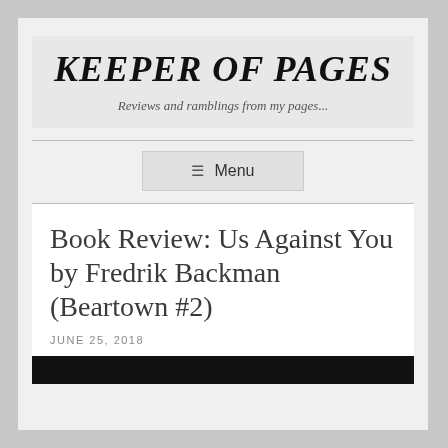KEEPER OF PAGES
Reviews and ramblings from my pages...
≡ Menu
Book Review: Us Against You by Fredrik Backman (Beartown #2)
JUNE 25, 2018
[Figure (photo): Bottom strip of a dark/black image, partially visible at page bottom]